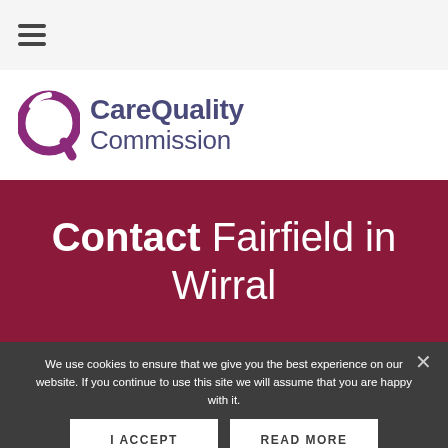Navigation menu (hamburger icon)
[Figure (logo): Care Quality Commission logo with purple Q circle and text 'CareQuality Commission']
Contact Fairfield in Wirral
We use cookies to ensure that we give you the best experience on our website. If you continue to use this site we will assume that you are happy with it.
I ACCEPT
READ MORE